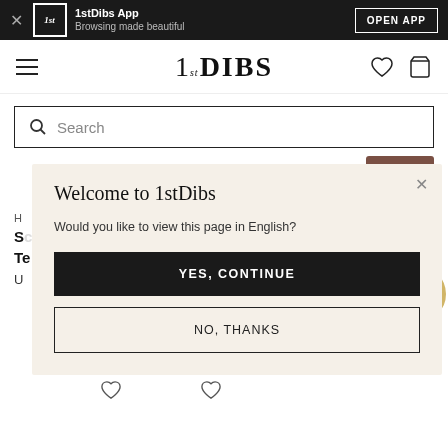1stDibs App — Browsing made beautiful — OPEN APP
[Figure (screenshot): 1stDibs navigation bar with hamburger menu, brand logo, heart icon, and cart icon]
[Figure (screenshot): Search bar with magnifying glass icon and placeholder text 'Search']
[Figure (screenshot): Modal dialog: Welcome to 1stDibs — Would you like to view this page in English? — YES, CONTINUE button — NO, THANKS button]